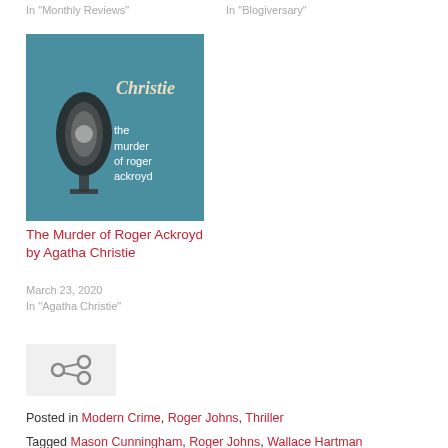In "Monthly Reviews"
In "Blogiversary"
[Figure (photo): Book cover of 'The Murder of Roger Ackroyd' by Agatha Christie, teal background with magnifying glass imagery]
The Murder of Roger Ackroyd by Agatha Christie
March 23, 2020
In "Agatha Christie"
[Figure (other): Share/link icon on light gray background]
Posted in Modern Crime, Roger Johns, Thriller
Tagged Mason Cunningham, Roger Johns, Wallace Hartman